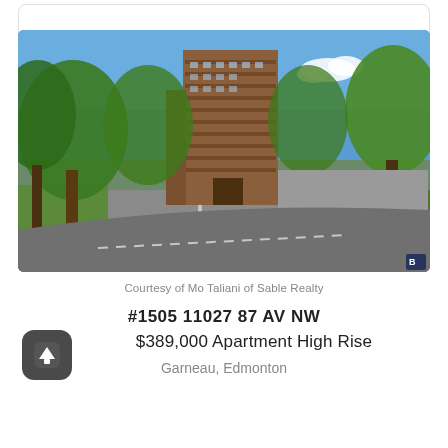[Figure (photo): Exterior photo of a multi-storey brick apartment high rise building surrounded by mature green trees, with a road and parking lot in the foreground, blue sky visible above.]
Courtesy of Mo Taliani of Sable Realty
#1505 11027 87 AV NW
$389,000 Apartment High Rise
Garneau, Edmonton